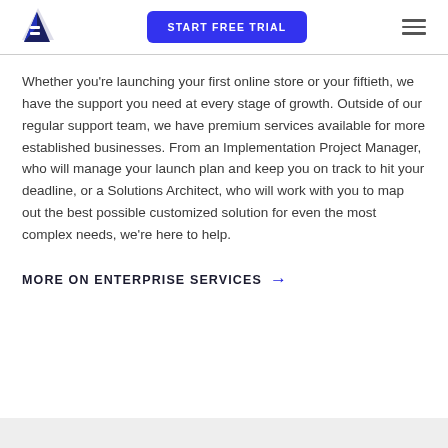[Figure (logo): BigCommerce logo — stylized letter B with a dark navy triangle/chevron shape]
[Figure (other): START FREE TRIAL button — blue rounded rectangle with white uppercase text]
[Figure (other): Hamburger menu icon — three horizontal lines]
Whether you're launching your first online store or your fiftieth, we have the support you need at every stage of growth. Outside of our regular support team, we have premium services available for more established businesses. From an Implementation Project Manager, who will manage your launch plan and keep you on track to hit your deadline, or a Solutions Architect, who will work with you to map out the best possible customized solution for even the most complex needs, we're here to help.
MORE ON ENTERPRISE SERVICES →